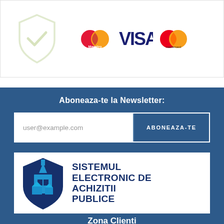[Figure (logo): Security shield checkmark icon with payment logos: Maestro, VISA, Mastercard]
Aboneaza-te la Newsletter:
user@example.com
ABONEAZA-TE
[Figure (logo): Sistemul Electronic de Achizitii Publice logo — shield with church/building icon in dark blue and sky blue, text SISTEMUL ELECTRONIC DE ACHIZITII PUBLICE]
Zona Clienti
Contul meu  Creaza cont  Politica achizitii